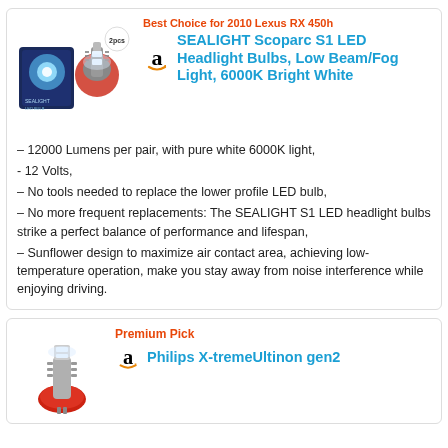[Figure (photo): SEALIGHT LED headlight bulbs product image showing two bulbs and packaging box]
Best Choice for 2010 Lexus RX 450h
SEALIGHT Scoparc S1 LED Headlight Bulbs, Low Beam/Fog Light, 6000K Bright White
– 12000 Lumens per pair, with pure white 6000K light,
- 12 Volts,
– No tools needed to replace the lower profile LED bulb,
– No more frequent replacements: The SEALIGHT S1 LED headlight bulbs strike a perfect balance of performance and lifespan,
– Sunflower design to maximize air contact area, achieving low-temperature operation, make you stay away from noise interference while enjoying driving.
[Figure (photo): Philips X-tremeUltinon gen2 LED bulb product image]
Premium Pick
Philips X-tremeUltinon gen2